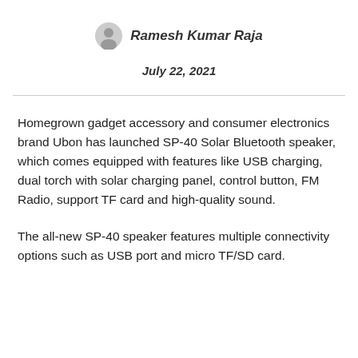Ramesh Kumar Raja
July 22, 2021
Homegrown gadget accessory and consumer electronics brand Ubon has launched SP-40 Solar Bluetooth speaker, which comes equipped with features like USB charging, dual torch with solar charging panel, control button, FM Radio, support TF card and high-quality sound.
The all-new SP-40 speaker features multiple connectivity options such as USB port and micro TF/SD card.